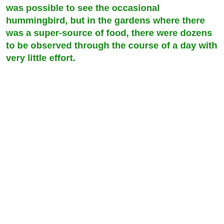was possible to see the occasional hummingbird, but in the gardens where there was a super-source of food, there were dozens to be observed through the course of a day with very little effort.